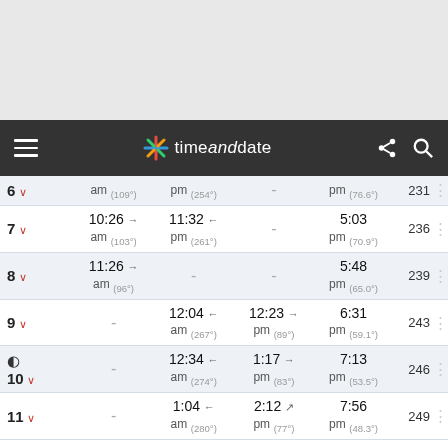timeanddate navigation bar
| Day | Moonrise | Moonset | Transit | Altitude | Distance |
| --- | --- | --- | --- | --- | --- |
| 6 ↓ | am (109°) | pm (254°) | - | pm (76.6°) | 231 |
| 7 ↓ | 10:26 → am (103°) | 11:32 ← pm (261°) | - | 5:03 pm (70.9°) | 236 |
| 8 ↓ | 11:26 → am (96°) | - | - | 5:48 pm (65.0°) | 239 |
| 9 ↓ | - | 12:04 ← am (267°) | 12:23 → pm (89°) | 6:31 pm (59.1°) | 243 |
| 🌓 10 ↓ | - | 12:34 ← am (274°) | 1:17 → pm (83°) | 7:13 pm (53.5°) | 246 |
| 11 ↓ | - | 1:04 ← am (280°) | 2:12 ↗ pm (77°) | 7:56 pm (48.3°) | 249 |